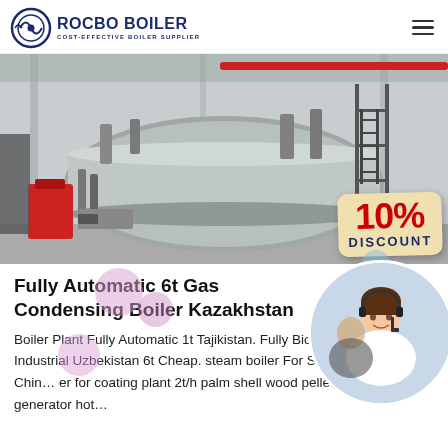[Figure (logo): Rocbo Boiler logo with circular icon and text 'ROCBO BOILER / COST-EFFECTIVE BOILER SUPPLIER']
[Figure (photo): Industrial gas condensing boiler in a factory setting, large cylindrical silver boiler with pipes and scaffolding, with a '10% DISCOUNT' badge overlay]
Fully Automatic 6t Gas Condensing Boiler Kazakhstan
Boiler Plant Fully Automatic 1t Tajikistan. Fully Biomass Boiler Plant Industrial Uzbekistan 6t Cheap. steam boiler For Sale 6t Nepal. 2t/h China er for coating plant 2t/h palm shell wood pellet steam generator hot…
[Figure (photo): Customer service representative woman with headset, smiling]